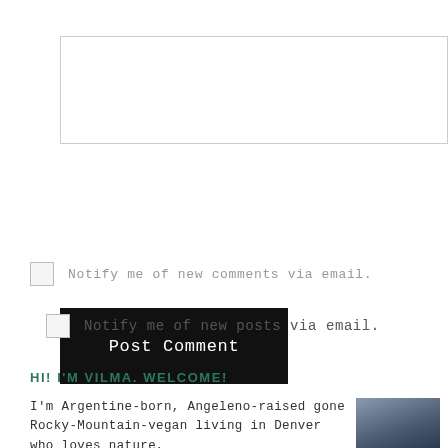[Figure (other): Empty text area input box with light border]
Post Comment
Notify me of new comments via email.
Notify me of new posts via email.
HI! I'M VILMA. WELCOME!
I'm Argentine-born, Angeleno-raised gone Rocky-Mountain-vegan living in Denver who loves nature,
[Figure (photo): Portrait photo of a woman with dark hair against a dark blue background]